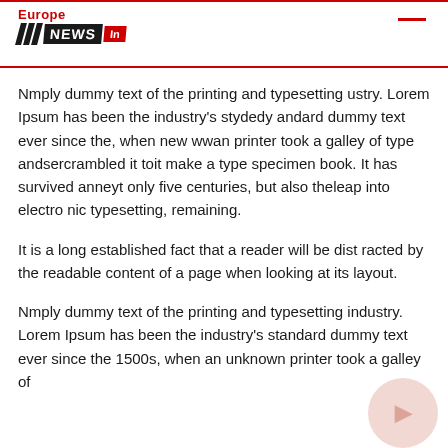Europe NEWS In
Nmply dummy text of the printing and typesetting ustry. Lorem Ipsum has been the industry's stydedy andard dummy text ever since the, when new wwan printer took a galley of type andsercrambled it toit make a type specimen book. It has survived anneyt only five centuries, but also theleap into electro nic typesetting, remaining.
It is a long established fact that a reader will be dist racted by the readable content of a page when looking at its layout.
Nmply dummy text of the printing and typesetting industry. Lorem Ipsum has been the industry's standard dummy text ever since the 1500s, when an unknown printer took a galley of